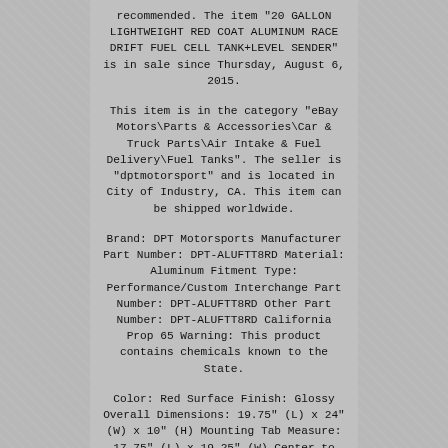recommended. The item "20 GALLON LIGHTWEIGHT RED COAT ALUMINUM RACE DRIFT FUEL CELL TANK+LEVEL SENDER" is in sale since Thursday, August 6, 2015.
This item is in the category "eBay Motors\Parts & Accessories\Car & Truck Parts\Air Intake & Fuel Delivery\Fuel Tanks". The seller is "dptmotorsport" and is located in City of Industry, CA. This item can be shipped worldwide.
Brand: DPT Motorsports Manufacturer Part Number: DPT-ALUFTT8RD Material: Aluminum Fitment Type: Performance/Custom Interchange Part Number: DPT-ALUFTT8RD Other Part Number: DPT-ALUFTT8RD California Prop 65 Warning: This product contains chemicals known to the State.
Color: Red Surface Finish: Glossy Overall Dimensions: 19.75" (L) x 24" (W) x 10" (H) Mounting Tab Measure: 17.75" (L) x 19.25" (W) Center to Center Sump Measures: 6" x 6" x 2"